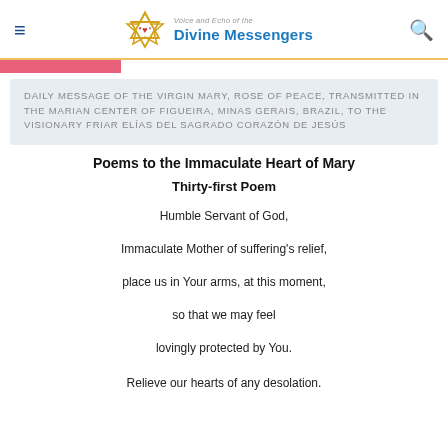Voice and Echo of the Divine Messengers
DAILY MESSAGE OF THE VIRGIN MARY, ROSE OF PEACE, TRANSMITTED IN THE MARIAN CENTER OF FIGUEIRA, MINAS GERAIS, BRAZIL, TO THE VISIONARY FRIAR ELÍAS DEL SAGRADO CORAZÓN DE JESÚS
Poems to the Immaculate Heart of Mary
Thirty-first Poem
Humble Servant of God,
Immaculate Mother of suffering's relief,
place us in Your arms, at this moment,
so that we may feel
lovingly protected by You.

Relieve our hearts of any desolation.